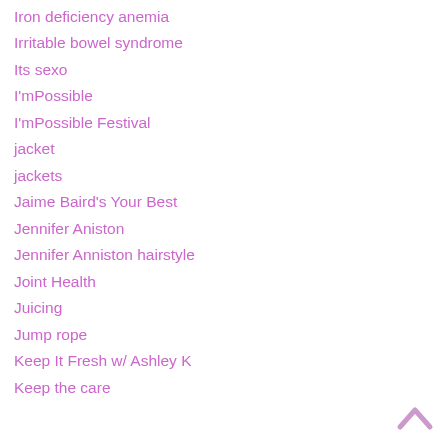Iron deficiency anemia
Irritable bowel syndrome
Its sexo
I'mPossible
I'mPossible Festival
jacket
jackets
Jaime Baird's Your Best
Jennifer Aniston
Jennifer Anniston hairstyle
Joint Health
Juicing
Jump rope
Keep It Fresh w/ Ashley K
Keep the care
[Figure (other): Back to top arrow icon (caret/chevron pointing up) in light pink/mauve color]